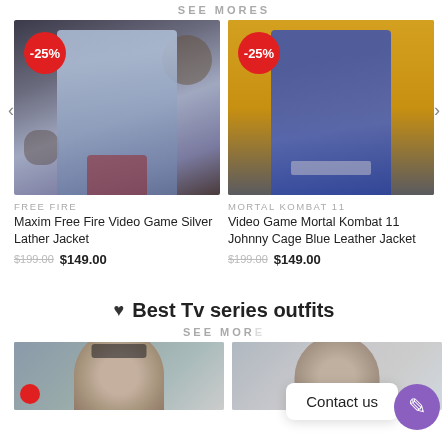SEE MORES
[Figure (photo): Product photo of Maxim Free Fire Video Game Silver Leather Jacket with -25% discount badge]
FREE FIRE
Maxim Free Fire Video Game Silver Lather Jacket
$199.00  $149.00
[Figure (photo): Product photo of Video Game Mortal Kombat 11 Johnny Cage Blue Leather Jacket with -25% discount badge]
MORTAL KOMBAT 11
Video Game Mortal Kombat 11 Johnny Cage Blue Leather Jacket
$199.00  $149.00
♥ Best Tv series outfits
SEE MOR
[Figure (photo): TV series outfit product photo - woman in hat]
[Figure (photo): TV series outfit product photo - man]
Contact us